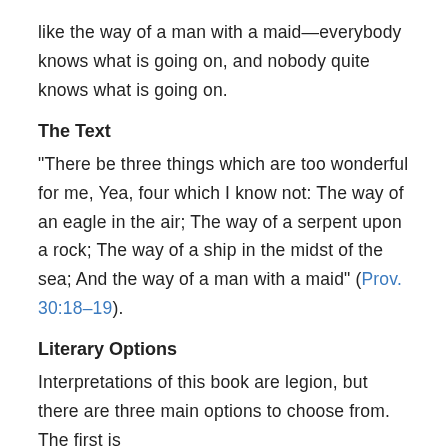like the way of a man with a maid—everybody knows what is going on, and nobody quite knows what is going on.
The Text
“There be three things which are too wonderful for me, Yea, four which I know not: The way of an eagle in the air; The way of a serpent upon a rock; The way of a ship in the midst of the sea; And the way of a man with a maid” (Prov. 30:18–19).
Literary Options
Interpretations of this book are legion, but there are three main options to choose from. The first is